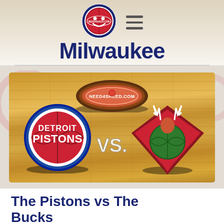Milwaukee — need4sheed.com site header with hamburger menu
[Figure (screenshot): Basketball game matchup image: Detroit Pistons vs Milwaukee Bucks logos on hardwood basketball court floor, with need4sheed.com watermark logo overhead. VS text in center.]
The Pistons vs The Bucks